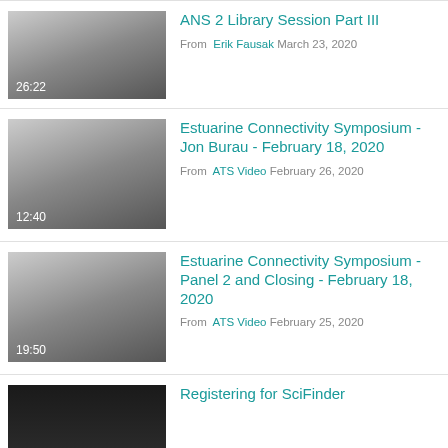[Figure (screenshot): Video thumbnail with gradient from light gray to dark gray, duration 26:22]
ANS 2 Library Session Part III
From Erik Fausak March 23, 2020
[Figure (screenshot): Video thumbnail with gradient from light gray to dark gray, duration 12:40]
Estuarine Connectivity Symposium - Jon Burau - February 18, 2020
From ATS Video February 26, 2020
[Figure (screenshot): Video thumbnail with gradient from light gray to dark gray, duration 19:50]
Estuarine Connectivity Symposium - Panel 2 and Closing - February 18, 2020
From ATS Video February 25, 2020
[Figure (screenshot): Video thumbnail dark/black, partial view]
Registering for SciFinder